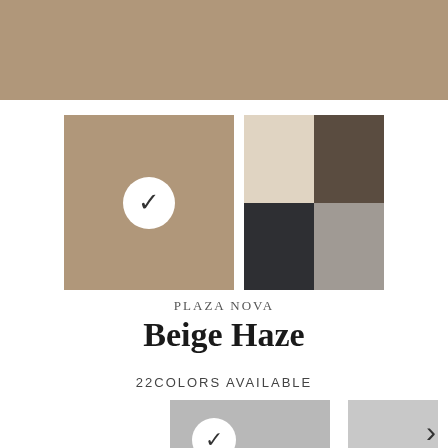[Figure (illustration): Top banner showing a large beige/tan color swatch filling the full width]
[Figure (illustration): Selected main color swatch (beige/tan) with white checkmark circle, and a 2x2 grid of complementary color swatches (cream, dark brown, dark charcoal, medium gray)]
PLAZA NOVA
Beige Haze
22COLORS AVAILABLE
[Figure (illustration): Two partial color swatches at bottom (light gray) with a checkmark on the first and a right arrow navigation indicator]